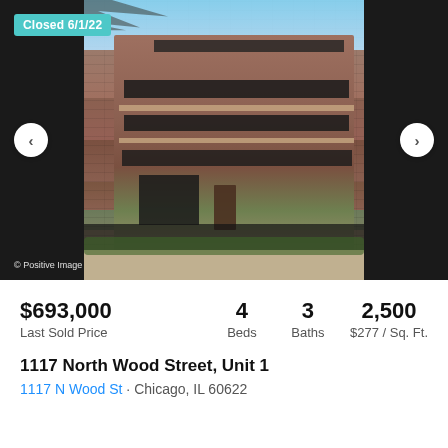[Figure (photo): Exterior photo of a multi-story modern brick building at 1117 North Wood Street, Unit 1, Chicago. The building has multiple floors with balconies and large windows, iron fence in front, trees visible. Badge overlay shows 'Closed 6/1/22'. Copyright text: '© Positive Image'.]
$693,000
Last Sold Price
4
Beds
3
Baths
2,500
$277 / Sq. Ft.
1117 North Wood Street, Unit 1
1117 N Wood St · Chicago, IL 60622